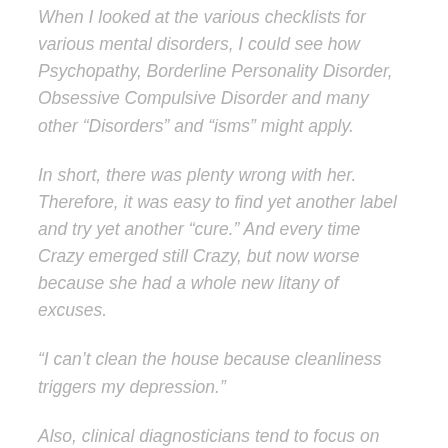When I looked at the various checklists for various mental disorders, I could see how Psychopathy, Borderline Personality Disorder, Obsessive Compulsive Disorder and many other “Disorders” and “isms” might apply.
In short, there was plenty wrong with her. Therefore, it was easy to find yet another label and try yet another “cure.” And every time Crazy emerged still Crazy, but now worse because she had a whole new litany of excuses.
“I can’t clean the house because cleanliness triggers my depression.”
Also, clinical diagnosticians tend to focus on